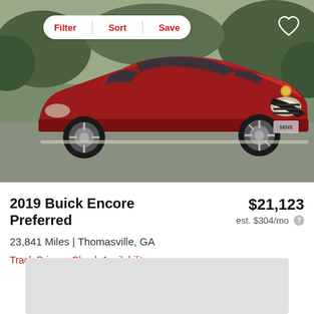[Figure (photo): Red 2019 Buick Encore Preferred SUV parked on a gravel driveway with trees in the background. A toolbar with Filter, Sort, Save buttons and a heart icon overlays the top of the image.]
2019 Buick Encore Preferred
$21,123
est. $304/mo
23,841 Miles | Thomasville, GA
Track Price   Check Availability